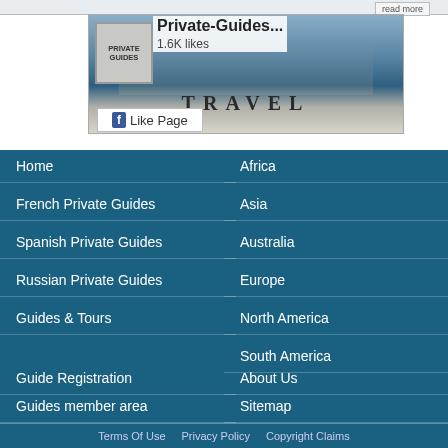[Figure (screenshot): Facebook Like Page widget for 'Private-Guides...' with 1.6K likes, showing a travel-themed banner with world landmarks and a Like Page button]
Home
Africa
French Private Guides
Asia
Spanish Private Guides
Australia
Russian Private Guides
Europe
Guides & Tours
North America
South America
Guide Registration
About Us
Guides member area
Sitemap
Tourist's page
Contact Us
Information
Terms and Conditions
Terms Of Use   Privacy Policy   Copyright Claims